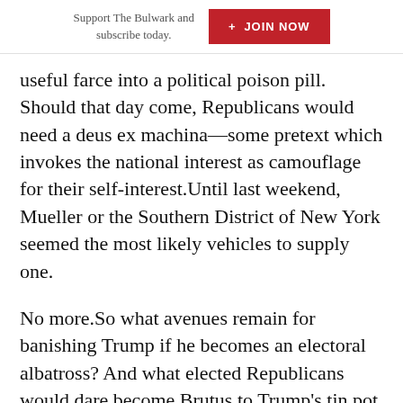Support The Bulwark and subscribe today. + JOIN NOW
useful farce into a political poison pill. Should that day come, Republicans would need a deus ex machina—some pretext which invokes the national interest as camouflage for their self-interest. Until last weekend, Mueller or the Southern District of New York seemed the most likely vehicles to supply one.
No more. So what avenues remain for banishing Trump if he becomes an electoral albatross? And what elected Republicans would dare become Brutus to Trump’s tin pot Caesar?